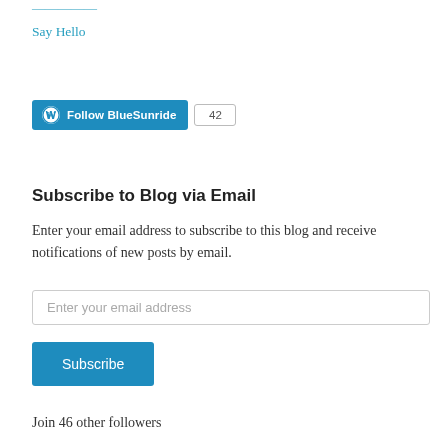Say Hello
[Figure (other): WordPress Follow BlueSunride button with count badge showing 42]
Subscribe to Blog via Email
Enter your email address to subscribe to this blog and receive notifications of new posts by email.
Enter your email address
Subscribe
Join 46 other followers